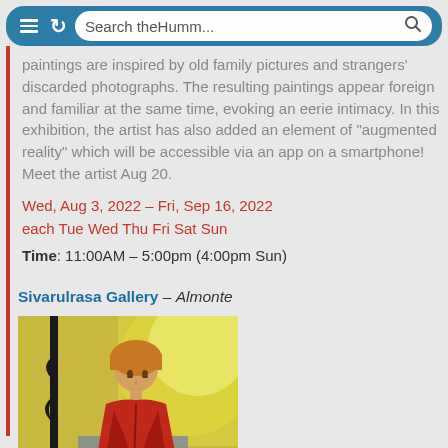[Figure (screenshot): Browser address bar with menu icon, refresh icon, and search bar showing 'Search theHumm...' with a search icon]
paintings are inspired by old family pictures and strangers' discarded photographs. The resulting paintings appear foreign and familiar at the same time, evoking an eerie intimacy. In this exhibition, the artist has also added an element of "augmented reality" which will be accessible via an app on a smartphone! Meet the artist Aug 20.
Wed, Aug 3, 2022 – Fri, Sep 16, 2022
each Tue Wed Thu Fri Sat Sun
Time: 11:00AM – 5:00pm (4:00pm Sun)
Sivarulrasa Gallery - Almonte
[Figure (photo): Painting of a woman in a red dress/cape with short blonde hair, standing against a yellow and blue background with a dark pole and crescent moon on the left]